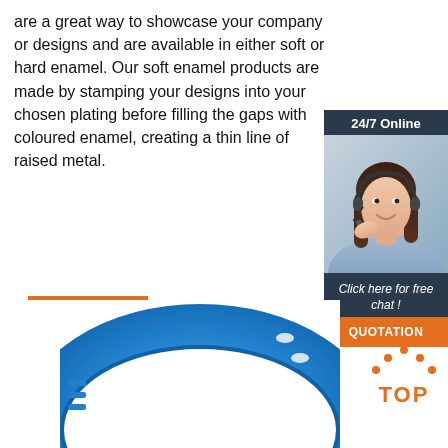are a great way to showcase your company or designs and are available in either soft or hard enamel. Our soft enamel products are made by stamping your designs into your chosen plating before filling the gaps with coloured enamel, creating a thin line of raised metal.
[Figure (screenshot): Orange 'Get Price' button]
[Figure (infographic): 24/7 Online chat widget with photo of customer service representative wearing headset, 'Click here for free chat!' text, and orange QUOTATION button]
[Figure (photo): Blue wristband/silicone bracelet product photo at bottom of page]
[Figure (logo): TOP badge with orange dots above text]